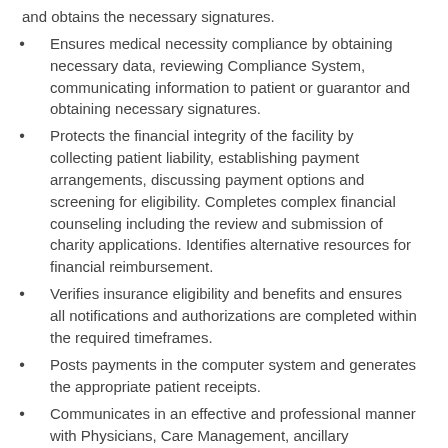and obtains the necessary signatures.
Ensures medical necessity compliance by obtaining necessary data, reviewing Compliance System, communicating information to patient or guarantor and obtaining necessary signatures.
Protects the financial integrity of the facility by collecting patient liability, establishing payment arrangements, discussing payment options and screening for eligibility. Completes complex financial counseling including the review and submission of charity applications. Identifies alternative resources for financial reimbursement.
Verifies insurance eligibility and benefits and ensures all notifications and authorizations are completed within the required timeframes.
Posts payments in the computer system and generates the appropriate patient receipts.
Communicates in an effective and professional manner with Physicians, Care Management, ancillary departments, nursing units, physicians' office staff, insurance companies, as well as patients and their families (all Patient Access customers). Completes thorough and accurate documentation.